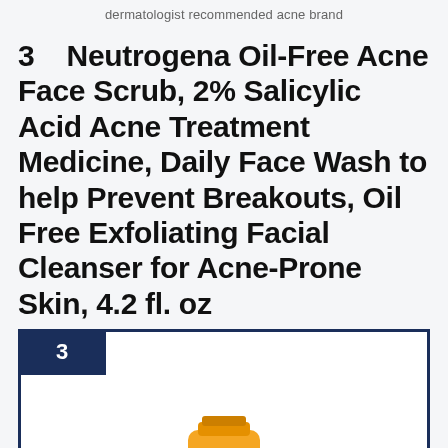dermatologist recommended acne brand
3    Neutrogena Oil-Free Acne Face Scrub, 2% Salicylic Acid Acne Treatment Medicine, Daily Face Wash to help Prevent Breakouts, Oil Free Exfoliating Facial Cleanser for Acne-Prone Skin, 4.2 fl. oz
[Figure (photo): Neutrogena Oil-Free Acne Face Scrub orange tube product image with rank badge '3' in dark navy blue square, inside a navy bordered box]